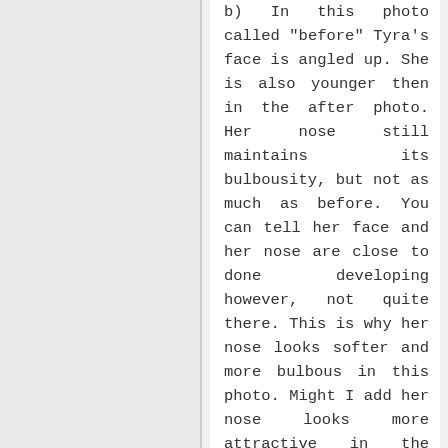b) In this photo called "before" Tyra's face is angled up. She is also younger then in the after photo. Her nose still maintains its bulbousity, but not as much as before. You can tell her face and her nose are close to done developing however, not quite there. This is why her nose looks softer and more bulbous in this photo. Might I add her nose looks more attractive in the before section, so even if she did have plastic surgery she loses out.